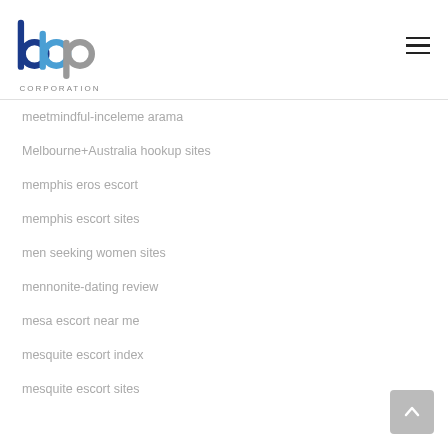[Figure (logo): bbp Corporation logo with blue and grey stylized letters and CORPORATION text below]
meetmindful-inceleme arama
Melbourne+Australia hookup sites
memphis eros escort
memphis escort sites
men seeking women sites
mennonite-dating review
mesa escort near me
mesquite escort index
mesquite escort sites